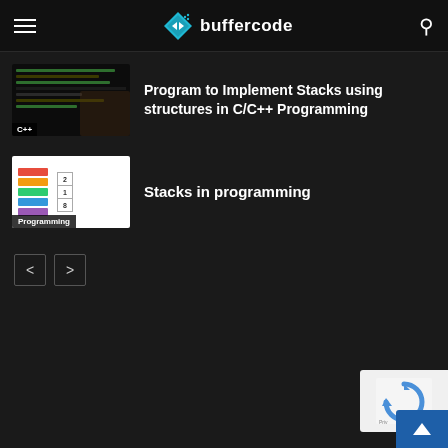buffercode
Program to Implement Stacks using structures in C/C++ Programming
Stacks in programming